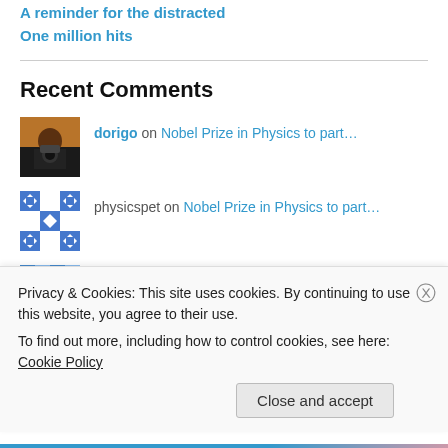A reminder for the distracted
One million hits
Recent Comments
dorigo on Nobel Prize in Physics to part…
physicspet on Nobel Prize in Physics to part…
Jackie on Silvia Baraldini is a free wom…
Privacy & Cookies: This site uses cookies. By continuing to use this website, you agree to their use.
To find out more, including how to control cookies, see here: Cookie Policy
Close and accept